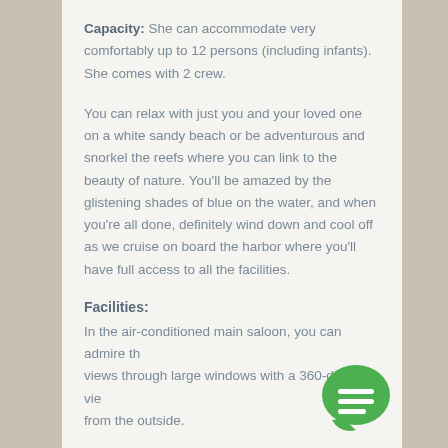Capacity: She can accommodate very comfortably up to 12 persons (including infants). She comes with 2 crew.
You can relax with just you and your loved one on a white sandy beach or be adventurous and snorkel the reefs where you can link to the beauty of nature. You'll be amazed by the glistening shades of blue on the water, and when you're all done, definitely wind down and cool off as we cruise on board the harbor where you'll have full access to all the facilities.
Facilities:
In the air-conditioned main saloon, you can admire the views through large windows with a 360-degree view from the outside.
[Figure (illustration): Green chat bubble icon with three horizontal white lines in the bottom-right corner]